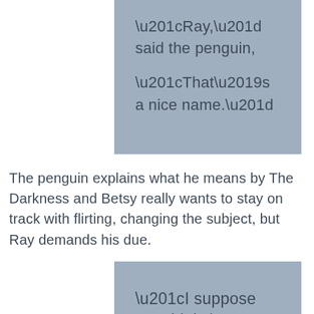“Ray,” said the penguin, “That’s a nice name.”
The penguin explains what he means by The Darkness and Betsy really wants to stay on track with flirting, changing the subject, but Ray demands his due.
“I suppose you think I’m some sort of lesser penguin, just because I fought the fucking darkness and tasted my